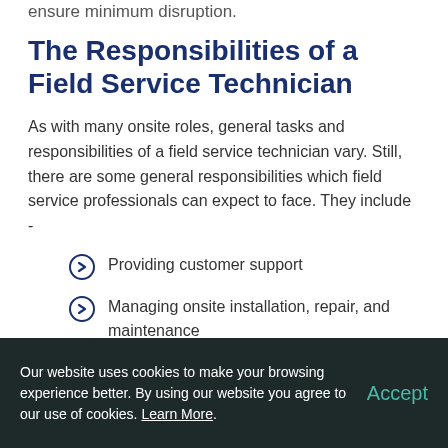ensure minimum disruption.
The Responsibilities of a Field Service Technician
As with many onsite roles, general tasks and responsibilities of a field service technician vary. Still, there are some general responsibilities which field service professionals can expect to face. They include -
Providing customer support
Managing onsite installation, repair, and maintenance
Producing detailed service
Our website uses cookies to make your browsing experience better. By using our website you agree to our use of cookies. Learn More.